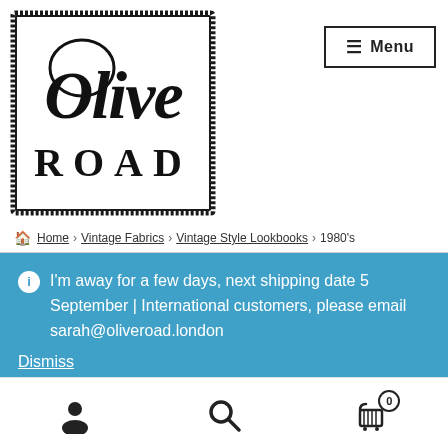[Figure (logo): Olive Road vintage logo with decorative border — cursive 'Olive' over serif 'ROAD']
[Figure (other): Menu button with hamburger icon and 'Menu' text]
Home > Vintage Fabrics > Vintage Style Lookbooks > 1980's
I'm away for a few days, next shipping date 5 September | International customers, please email sarah@oliveroad.london
Dismiss
[Figure (other): Bottom navigation bar with person/account icon, search icon, and shopping cart icon with badge showing 0]